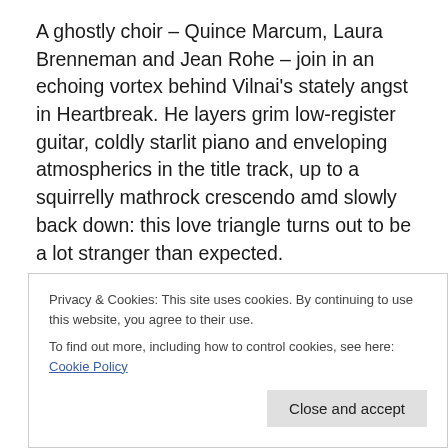A ghostly choir – Quince Marcum, Laura Brenneman and Jean Rohe – join in an echoing vortex behind Vilnai's stately angst in Heartbreak. He layers grim low-register guitar, coldly starlit piano and enveloping atmospherics in the title track, up to a squirrelly mathrock crescendo amd slowly back down: this love triangle turns out to be a lot stranger than expected.
The album's macabre final diptych is The Night We Met: Noriega's moody clarinet rises over creepy, lingering belltones. Vilnai's minimalist guitar lurking in the
Privacy & Cookies: This site uses cookies. By continuing to use this website, you agree to their use.
To find out more, including how to control cookies, see here: Cookie Policy